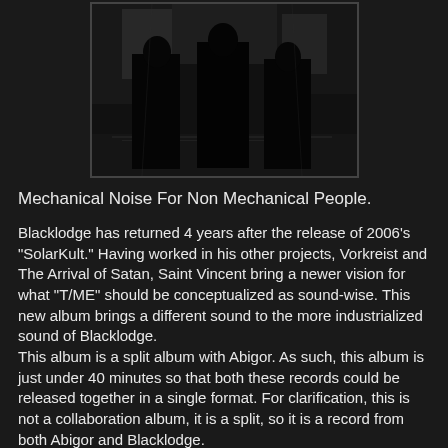[Figure (photo): Black and white photo of three silhouetted figures standing in a dark, gritty environment]
Mechanical Noise For Non Mechanical People.
Blacklodge has returned 4 years after the release of 2006's "SolarKult." Having worked in his other projects, Vorkreist and The Arrival of Satan, Saint Vincent bring a newer vision for what "T/ME" should be conceptualized as sound-wise. This new album brings a different sound to the more industrialized sound of Blacklodge.
This album is a split album with Abigor. As such, this album is just under 40 minutes so that both these records could be released together in a single format. For clarification, this is not a collaboration album, it is a split, so it is a record from both Abigor and Blacklodge.
"T/ME" brings with it a newer form of electronic music. As on previous outputs, this album has the more black metal sound